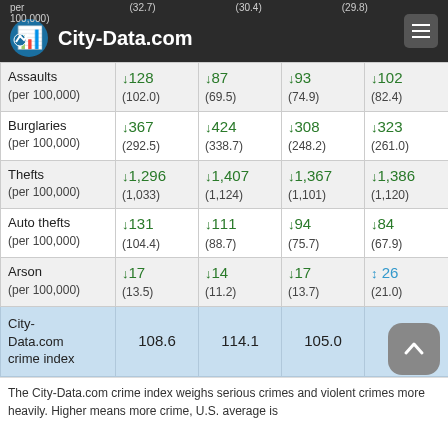City-Data.com
|  | Col1 | Col2 | Col3 | Col4 |
| --- | --- | --- | --- | --- |
| Assaults (per 100,000) | ↓128 (102.0) | ↓87 (69.5) | ↓93 (74.9) | ↓102 (82.4) |
| Burglaries (per 100,000) | ↓367 (292.5) | ↓424 (338.7) | ↓308 (248.2) | ↓323 (261.0) |
| Thefts (per 100,000) | ↓1,296 (1,033) | ↓1,407 (1,124) | ↓1,367 (1,101) | ↓1,386 (1,120) |
| Auto thefts (per 100,000) | ↓131 (104.4) | ↓111 (88.7) | ↓94 (75.7) | ↓84 (67.9) |
| Arson (per 100,000) | ↓17 (13.5) | ↓14 (11.2) | ↓17 (13.7) | ↑26 (21.0) |
| City-Data.com crime index | 108.6 | 114.1 | 105.0 | 110.2 |
The City-Data.com crime index weighs serious crimes and violent crimes more heavily. Higher means more crime, U.S. average is